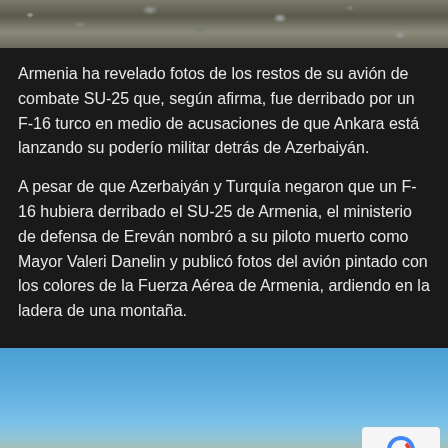[Figure (photo): Top portion of a rocky debris/rubble image, cropped at the top of the page]
Armenia ha revelado fotos de los restos de su avión de combate SU-25 que, según afirma, fue derribado por un F-16 turco en medio de acusaciones de que Ankara está lanzando su poderío militar detrás de Azerbaiyán.
A pesar de que Azerbaiyán y Turquía negaron que un F-16 hubiera derribado el SU-25 de Armenia, el ministerio de defensa de Ereván nombró a su piloto muerto como Mayor Valeri Danelin y publicó fotos del avión pintado con los colores de la Fuerza Aérea de Armenia, ardiendo en la ladera de una montaña.
[Figure (photo): Photo showing a blue sky with mountainous terrain at the bottom, partially visible]
Política de privacidad y cookies